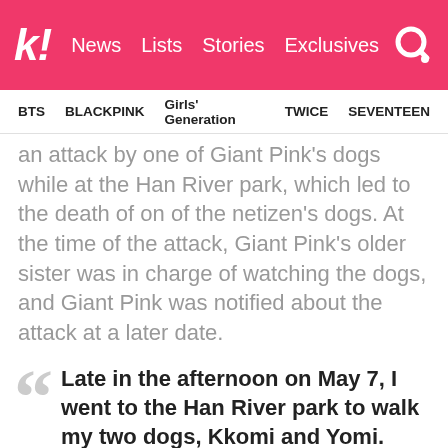K! News Lists Stories Exclusives
BTS   BLACKPINK   Girls' Generation   TWICE   SEVENTEEN
an attack by one of Giant Pink's dogs while at the Han River park, which led to the death of on of the netizen's dogs. At the time of the attack, Giant Pink's older sister was in charge of watching the dogs, and Giant Pink was notified about the attack at a later date.
Late in the afternoon on May 7, I went to the Han River park to walk my two dogs, Kkomi and Yomi. While on my usual path, I sat down at a table with my boyfriend and a close friend of mine and we were chatting. At the table next to us, Giant Pink's older sister